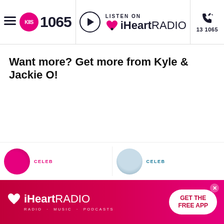KIIS 1065 — LISTEN ON iHeartRADIO — 13 1065
Want more? Get more from Kyle & Jackie O!
CELEB
CELEB
[Figure (screenshot): iHeartRADIO advertisement banner — GET THE FREE APP]
iHeartRADIO · RADIO · MUSIC · PODCASTS